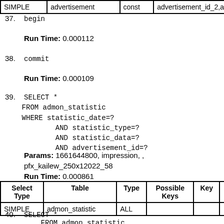| Select Type | Table | Type | Possible Keys | Key | Key Len | Ref | Row... |
| --- | --- | --- | --- | --- | --- | --- | --- |
| SIMPLE | advertisement | const | advertisement_id_2,advertisen |  |  |  |  |
37. begin
Run Time: 0.000112
38. commit
Run Time: 0.000109
39. SELECT *
    FROM admon_statistic
    WHERE statistic_date=?
            AND statistic_type=?
            AND statistic_data=?
            AND advertisement_id=?
Params: 1661644800, impression, , pfx_kailew_250x12022_58
Run Time: 0.000861
| Select Type | Table | Type | Possible Keys | Key | Key Len | Ref | Row... |
| --- | --- | --- | --- | --- | --- | --- | --- |
| SIMPLE | admon_statistic | ALL |  |  |  |  | 2107... |
40. SELECT *
    FROM admon_statistic